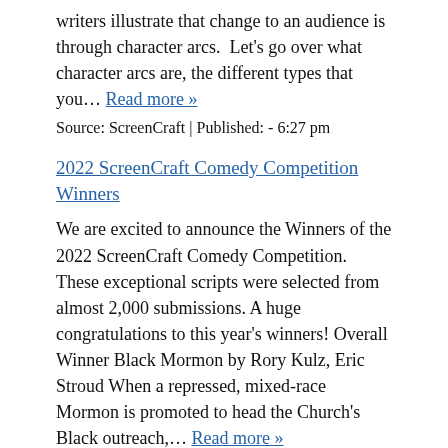writers illustrate that change to an audience is through character arcs.  Let's go over what character arcs are, the different types that you… Read more »
Source: ScreenCraft | Published: - 6:27 pm
2022 ScreenCraft Comedy Competition Winners
We are excited to announce the Winners of the 2022 ScreenCraft Comedy Competition. These exceptional scripts were selected from almost 2,000 submissions. A huge congratulations to this year's winners! Overall Winner Black Mormon by Rory Kulz, Eric Stroud When a repressed, mixed-race Mormon is promoted to head the Church's Black outreach,… Read more »
Source: ScreenCraft | Published: - 5:00 pm
Fall 2022 ScreenCraft Film Fund Semifinalists
Listed below are the Semifinalists of the Fall 2022 ScreenCraft Film Fund. These exceptional projects